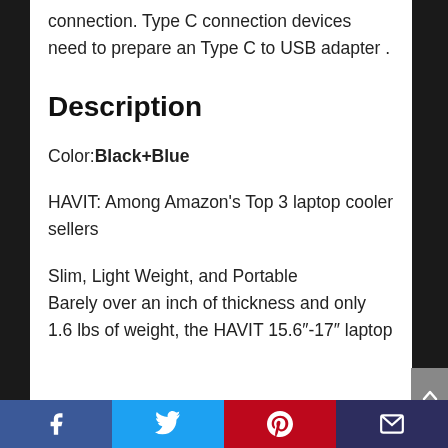connection. Type C connection devices need to prepare an Type C to USB adapter .
Description
Color: Black+Blue
HAVIT: Among Amazon's Top 3 laptop cooler sellers
Slim, Light Weight, and Portable
Barely over an inch of thickness and only 1.6 lbs of weight, the HAVIT 15.6"-17" laptop